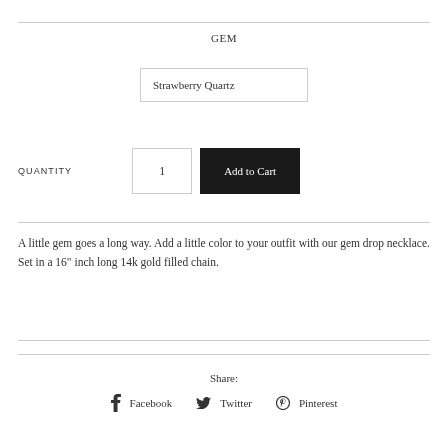GEM
Strawberry Quartz
QUANTITY
1
Add to Cart
A little gem goes a long way. Add a little color to your outfit with our gem drop necklace. Set in a 16" inch long 14k gold filled chain.
Share:
Facebook
Twitter
Pinterest